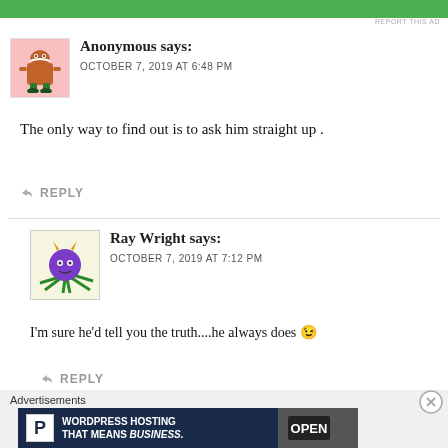[Figure (other): Green advertisement banner at top]
REPORT THIS AD
[Figure (illustration): Avatar: cartoon monster figure on pink background]
Anonymous says:
OCTOBER 7, 2019 AT 6:48 PM
The only way to find out is to ask him straight up .
REPLY
[Figure (illustration): Avatar: purple creature with green tentacles on light background]
Ray Wright says:
OCTOBER 7, 2019 AT 7:12 PM
I'm sure he'd tell you the truth....he always does 😉
REPLY
Advertisements
[Figure (other): WordPress hosting advertisement banner: P logo, WORDPRESS HOSTING THAT MEANS BUSINESS. with OPEN sign photo]